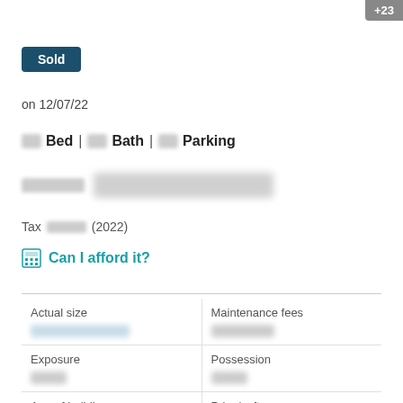+23
Sold
on 12/07/22
[blurred] Bed | [blurred] Bath | [blurred] Parking
[blurred price]
Tax [blurred] (2022)
Can I afford it?
| Actual size | Maintenance fees |
| --- | --- |
| [blurred] | [blurred] |
| Exposure | Possession |
| [blurred] | [blurred] |
Age of building
Price/sqft